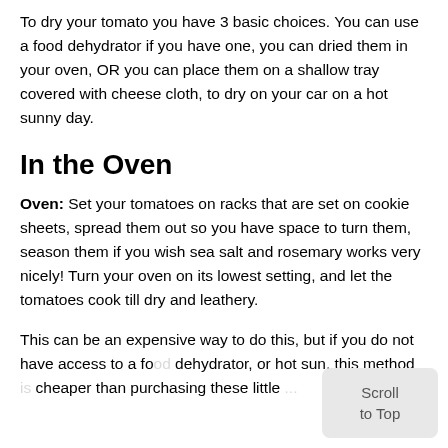To dry your tomato you have 3 basic choices. You can use a food dehydrator if you have one, you can dried them in your oven, OR you can place them on a shallow tray covered with cheese cloth, to dry on your car on a hot sunny day.
In the Oven
Oven: Set your tomatoes on racks that are set on cookie sheets, spread them out so you have space to turn them, season them if you wish sea salt and rosemary works very nicely! Turn your oven on its lowest setting, and let the tomatoes cook till dry and leathery.
This can be an expensive way to do this, but if you do not have access to a fo... dehydrator, or hot sun, this method... cheaper than purchasing these little...